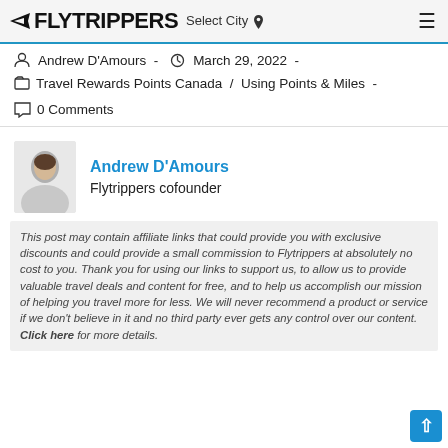FLYTRIPPERS Select City
Andrew D'Amours - March 29, 2022 -
Travel Rewards Points Canada / Using Points & Miles -
0 Comments
[Figure (photo): Headshot photo of Andrew D'Amours]
Andrew D'Amours
Flytrippers cofounder
This post may contain affiliate links that could provide you with exclusive discounts and could provide a small commission to Flytrippers at absolutely no cost to you. Thank you for using our links to support us, to allow us to provide valuable travel deals and content for free, and to help us accomplish our mission of helping you travel more for less. We will never recommend a product or service if we don't believe in it and no third party ever gets any control over our content. Click here for more details.